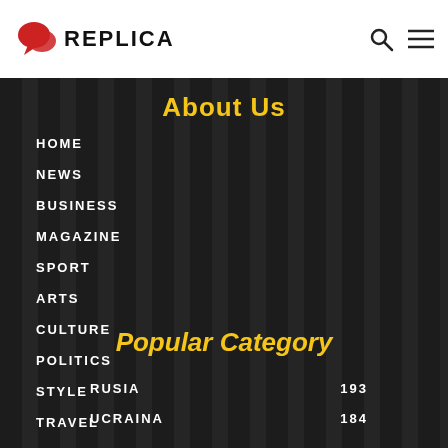REPLICA
About Us
HOME
NEWS
BUSINESS
MAGAZINE
SPORT
ARTS
CULTURE
POLITICS
STYLE
TRAVEL
Popular Category
RUSIA 193
UCRAINA 184